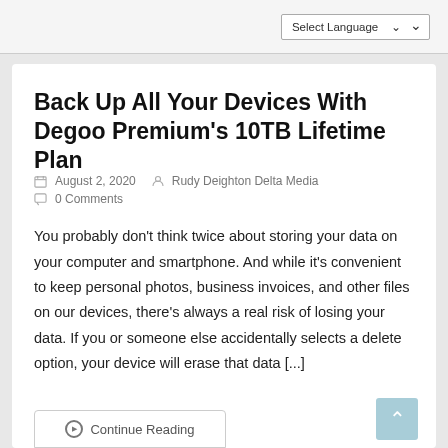Select Language
Back Up All Your Devices With Degoo Premium's 10TB Lifetime Plan
August 2, 2020  Rudy Deighton Delta Media
0 Comments
You probably don't think twice about storing your data on your computer and smartphone. And while it's convenient to keep personal photos, business invoices, and other files on our devices, there's always a real risk of losing your data. If you or someone else accidentally selects a delete option, your device will erase that data [...]
Continue Reading